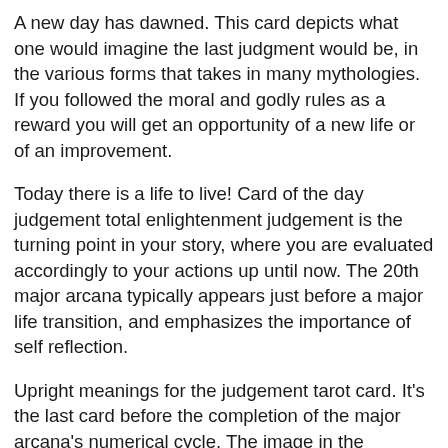A new day has dawned. This card depicts what one would imagine the last judgment would be, in the various forms that takes in many mythologies. If you followed the moral and godly rules as a reward you will get an opportunity of a new life or of an improvement.
Today there is a life to live! Card of the day judgement total enlightenment judgement is the turning point in your story, where you are evaluated accordingly to your actions up until now. The 20th major arcana typically appears just before a major life transition, and emphasizes the importance of self reflection.
Upright meanings for the judgement tarot card. It's the last card before the completion of the major arcana's numerical cycle. The image in the judgement card shows women, men, and children who are rising from the grave to respond to gabriel's trumpet call.
The judgement tarot card reversed can also indicate issues caused by failure to learn from the past. The judgement tarot card's true meaning: Judgement is the twentieth card